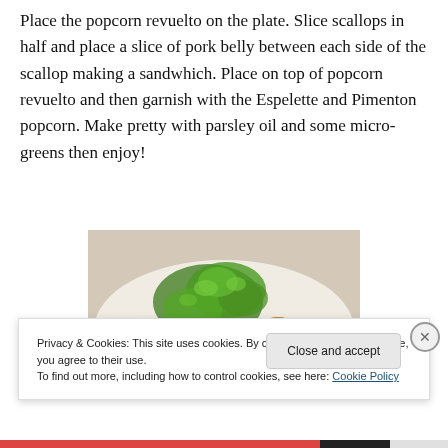Place the popcorn revuelto on the plate. Slice scallops in half and place a slice of pork belly between each side of the scallop making a sandwhich. Place on top of popcorn revuelto and then garnish with the Espelette and Pimenton popcorn. Make pretty with parsley oil and some micro-greens then enjoy!
[Figure (photo): A plated dish with seared scallops and pork belly sandwiches topped with micro-greens/watercress on a white plate, with green parsley oil]
Privacy & Cookies: This site uses cookies. By continuing to use this website, you agree to their use.
To find out more, including how to control cookies, see here: Cookie Policy